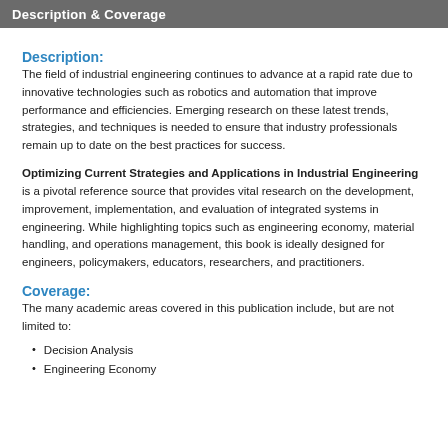Description & Coverage
Description:
The field of industrial engineering continues to advance at a rapid rate due to innovative technologies such as robotics and automation that improve performance and efficiencies. Emerging research on these latest trends, strategies, and techniques is needed to ensure that industry professionals remain up to date on the best practices for success.
Optimizing Current Strategies and Applications in Industrial Engineering is a pivotal reference source that provides vital research on the development, improvement, implementation, and evaluation of integrated systems in engineering. While highlighting topics such as engineering economy, material handling, and operations management, this book is ideally designed for engineers, policymakers, educators, researchers, and practitioners.
Coverage:
The many academic areas covered in this publication include, but are not limited to:
Decision Analysis
Engineering Economy